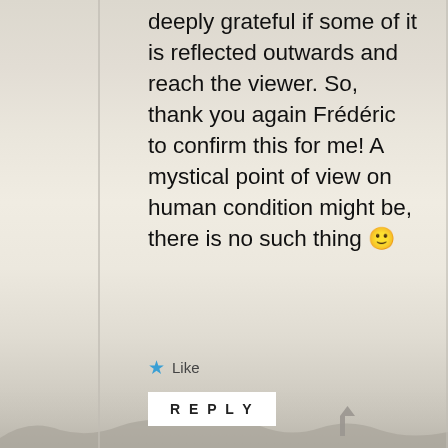deeply grateful if some of it is reflected outwards and reach the viewer. So, thank you again Frédéric to confirm this for me! A mystical point of view on human condition might be, there is no such thing 🙂
★ Like
REPLY